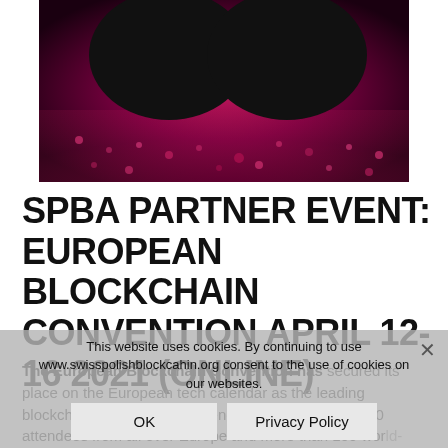[Figure (photo): Dark magenta/crimson colored event photo with large sunglasses silhouette in foreground and crowd below, promotional image for European Blockchain Convention]
SPBA PARTNER EVENT: EUROPEAN BLOCKCHAIN CONVENTION APRIL 12-16 2021 (ONLINE)
The European Blockchain Convention has secured its place on the European tech calendar as the leading blockchain enterprise conference, gathering over 2000 attendees from all over Europe and more than 100 world-class speakers to discuss the proposed EU Markets in… Read More